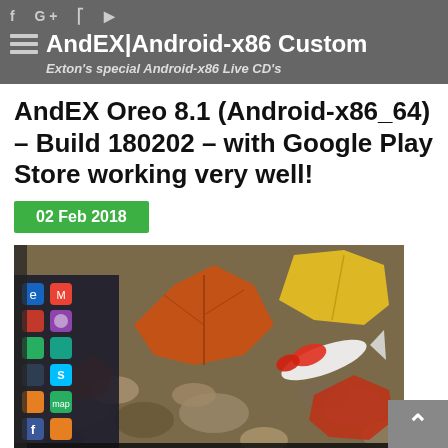f G+ RSS YouTube | AndEX|Android-x86 Custom — Exton's special Android-x86 Live CD's
AndEX Oreo 8.1 (Android-x86_64) – Build 180202 – with Google Play Store working very well!
02 Feb 2018
[Figure (screenshot): Screenshot of AndEX Oreo 8.1 Android-x86 desktop with app drawer open showing icons including Gmail, Maps, Skype, Facebook, and others, with a nature wallpaper showing koi fish and autumn leaves on stones]
NEWS 180202 about AndEX Oreo 8.1